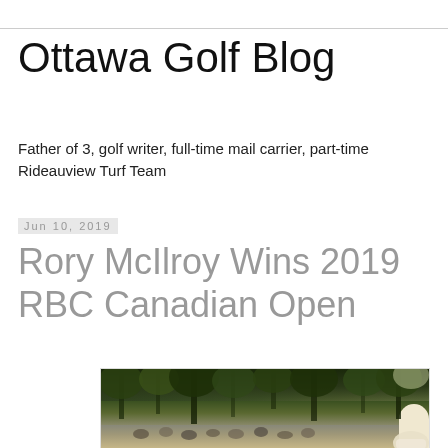Ottawa Golf Blog
Father of 3, golf writer, full-time mail carrier, part-time Rideauview Turf Team
Jun 10, 2019
Rory McIlroy Wins 2019 RBC Canadian Open
[Figure (photo): Outdoor golf course photo showing a crowd of spectators gathered among trees watching a golf tournament, with lush green forest in the background and a person visible in the lower right foreground.]